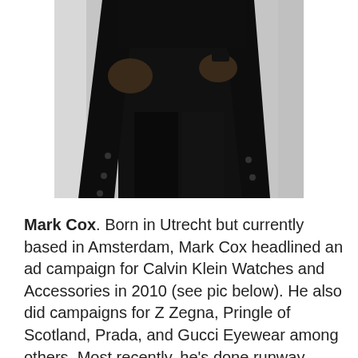[Figure (photo): A fashion photo of a person (Mark Cox) dressed in all black clothing including a long dark coat and dark jeans, photographed against a white/light background. Only the body from approximately chest down is visible, not the face.]
Mark Cox. Born in Utrecht but currently based in Amsterdam, Mark Cox headlined an ad campaign for Calvin Klein Watches and Accessories in 2010 (see pic below). He also did campaigns for Z Zegna, Pringle of Scotland, Prada, and Gucci Eyewear among others. Most recently, he's done runway shows for Bespoken, Bottega Veneta, Burberry, Dolce & Gabbana, and many many more.